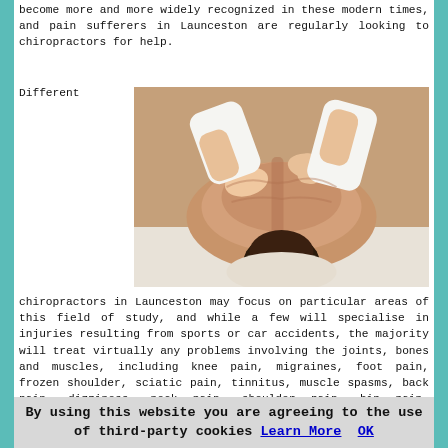become more and more widely recognized in these modern times, and pain sufferers in Launceston are regularly looking to chiropractors for help.
Different
[Figure (photo): A chiropractic treatment photo showing a practitioner in a white coat applying pressure to the back of a patient lying face down on a treatment table.]
chiropractors in Launceston may focus on particular areas of this field of study, and while a few will specialise in injuries resulting from sports or car accidents, the majority will treat virtually any problems involving the joints, bones and muscles, including knee pain, migraines, foot pain, frozen shoulder, sciatic pain, tinnitus, muscle spasms, back pain, dizziness, neck pain, shoulder pain, hip pain, headaches, arm pain, ankle pain, tennis elbow, lumbar
By using this website you are agreeing to the use of third-party cookies Learn More  OK